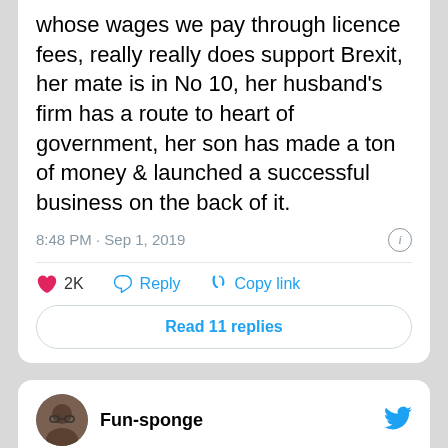whose wages we pay through licence fees, really really does support Brexit, her mate is in No 10, her husband's firm has a route to heart of government, her son has made a ton of money & launched a successful business on the back of it.
8:48 PM · Sep 1, 2019
2K  Reply  Copy link
Read 11 replies
Fun-sponge